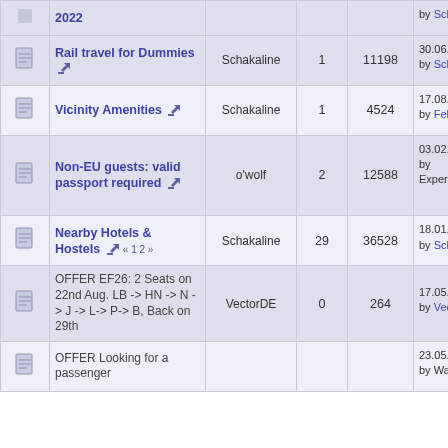|  | Topic | Author | Replies | Views | Last Post |
| --- | --- | --- | --- | --- | --- |
| [icon] | 2022 |  |  |  | by Schakaline |
| [page-icon] | Rail travel for Dummies [pin] | Schakaline | 1 | 11198 | 30.06.2010, 01:14:29 by Schakaline |
| [page-icon] | Vicinity Amenities [pin] | Schakaline | 1 | 4524 | 17.08.2018, 01:26:12 by Felfur |
| [page-icon] | Non-EU guests: valid passport required [pin] | o'wolf | 2 | 12588 | 03.02.2016, 20:26:15 by Experimentonomen |
| [page-icon] | Nearby Hotels & Hostels [pin] « 1 2 » | Schakaline | 29 | 36528 | 18.01.2022, 14:24:01 by Schakaline |
| [page-icon] | OFFER EF26: 2 Seats on 22nd Aug. LB -> HN -> N -> J -> L-> P-> B, Back on 29th | VectorDE | 0 | 264 | 17.05.2022, 12:27:31 by VectorDE |
| [page-icon] | OFFER Looking for a passenger |  |  |  | 23.05.2022, 17:20:15 by Wawuka |